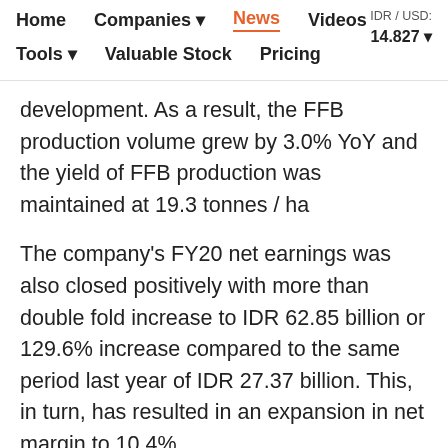Home   Companies ▾   News   Videos   IDR / USD: 14.827 ▾   Tools ▾   Valuable Stock   Pricing
development. As a result, the FFB production volume grew by 3.0% YoY and the yield of FFB production was maintained at 19.3 tonnes / ha
The company's FY20 net earnings was also closed positively with more than double fold increase to IDR 62.85 billion or 129.6% increase compared to the same period last year of IDR 27.37 billion. This, in turn, has resulted in an expansion in net margin to 10.4%.
The company believes that in the future the business prospects are still quite good in line with the condition of the oil palm plantation